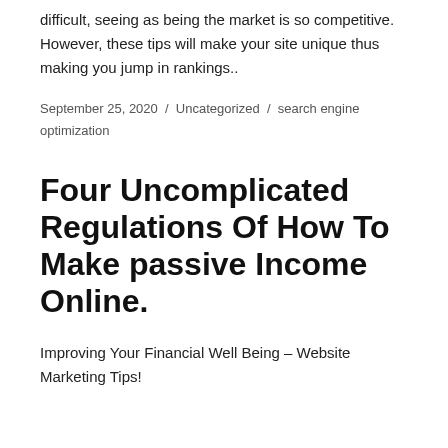difficult, seeing as being the market is so competitive. However, these tips will make your site unique thus making you jump in rankings..
September 25, 2020 / Uncategorized / search engine optimization
Four Uncomplicated Regulations Of How To Make passive Income Online.
Improving Your Financial Well Being – Website Marketing Tips!